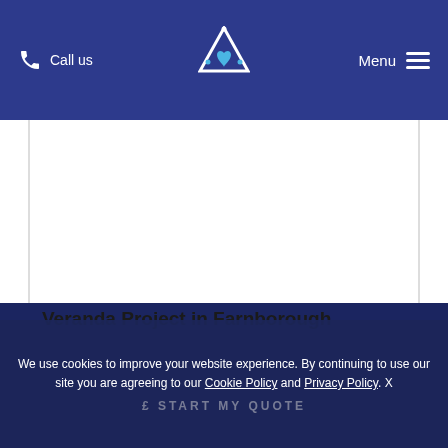Call us | [Logo] | Menu
[Figure (photo): Large white/blank content area representing a veranda project image placeholder]
Veranda Project in Farnborough
We use cookies to improve your website experience. By continuing to use our site you are agreeing to our Cookie Policy and Privacy Policy. X
£ START MY QUOTE